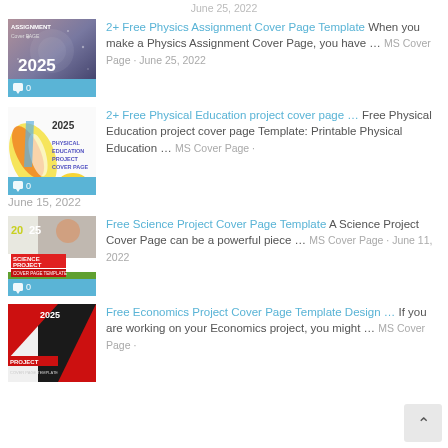June 25, 2022
[Figure (screenshot): Physics Assignment Cover Page thumbnail with '2025' text and comment badge showing 0]
2+ Free Physics Assignment Cover Page Template When you make a Physics Assignment Cover Page, you have … MS Cover Page · June 25, 2022
[Figure (screenshot): Physical Education Project Cover Page thumbnail with '2025' and colorful paint splash, comment badge 0]
2+ Free Physical Education project cover page … Free Physical Education project cover page Template: Printable Physical Education … MS Cover Page · June 15, 2022
[Figure (screenshot): Science Project Cover Page Template thumbnail with '2025', SCIENCE PROJECT text on green/white background, comment badge 0]
Free Science Project Cover Page Template A Science Project Cover Page can be a powerful piece … MS Cover Page · June 11, 2022
[Figure (screenshot): Economics Project Cover Page Template thumbnail with red/black geometric design, PROJECT COVER PAGE TEMPLATE text]
Free Economics Project Cover Page Template Design … If you are working on your Economics project, you might … MS Cover Page ·